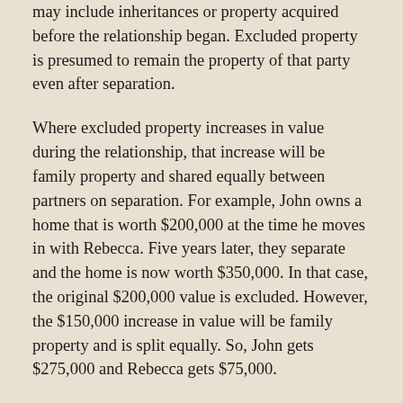may include inheritances or property acquired before the relationship began. Excluded property is presumed to remain the property of that party even after separation.
Where excluded property increases in value during the relationship, that increase will be family property and shared equally between partners on separation. For example, John owns a home that is worth $200,000 at the time he moves in with Rebecca. Five years later, they separate and the home is now worth $350,000. In that case, the original $200,000 value is excluded. However, the $150,000 increase in value will be family property and is split equally. So, John gets $275,000 and Rebecca gets $75,000.
However, life is rarely this straightforward. There are always complicating factors, such as shared mortgage payments and property purchased during the relationship with funds acquired before the relationship. It